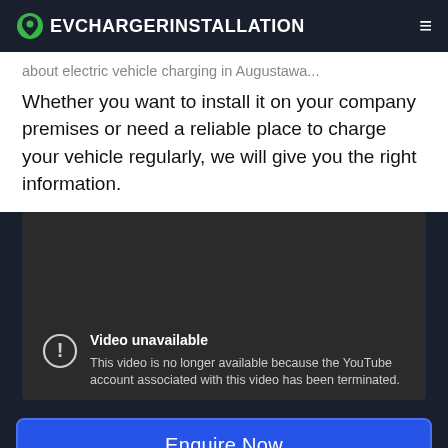EVCHARGERINSTALLATION
...about electric vehicle charging in Augustawa... Whether you want to install it on your company premises or need a reliable place to charge your vehicle regularly, we will give you the right information.
[Figure (screenshot): Embedded YouTube video player showing 'Video unavailable' error message: 'This video is no longer available because the YouTube account associated with this video has been terminated.']
Enquire Now